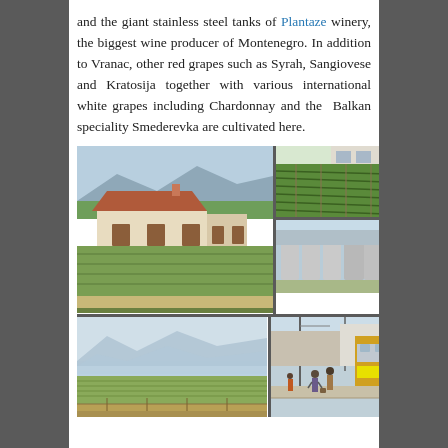and the giant stainless steel tanks of Plantaze winery, the biggest wine producer of Montenegro. In addition to Vranac, other red grapes such as Syrah, Sangiovese and Kratosija together with various international white grapes including Chardonnay and the Balkan speciality Smederevka are cultivated here.
[Figure (photo): Grid of five photographs showing: a house amid vineyards with mountains in background (large, left); rows of vines from above (top right); large stainless steel storage tanks at a winery (middle right); wide panoramic vineyard landscape with mountains (bottom left); train platform with passengers and a train (bottom right).]